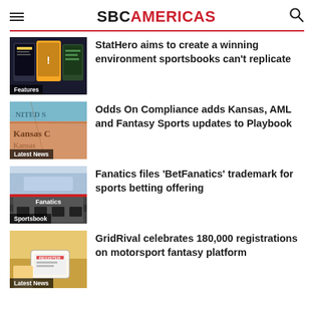SBC AMERICAS
[Figure (photo): Sports betting app screens collage, labeled Features]
StatHero aims to create a winning environment sportsbooks can't replicate
[Figure (photo): Map showing Kansas area, labeled Latest News]
Odds On Compliance adds Kansas, AML and Fantasy Sports updates to Playbook
[Figure (photo): Fanatics store exterior, labeled Sportsbook]
Fanatics files 'BetFanatics' trademark for sports betting offering
[Figure (photo): Person registering on tablet, labeled Latest News]
GridRival celebrates 180,000 registrations on motorsport fantasy platform